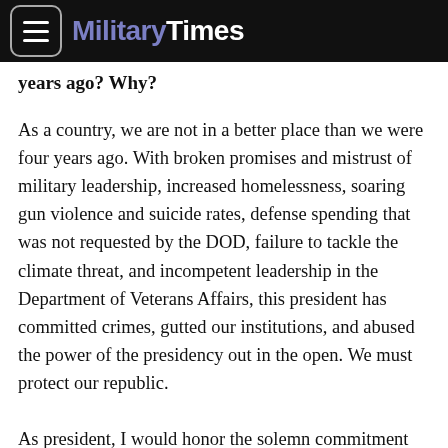Military Times
years ago? Why?
As a country, we are not in a better place than we were four years ago. With broken promises and mistrust of military leadership, increased homelessness, soaring gun violence and suicide rates, defense spending that was not requested by the DOD, failure to tackle the climate threat, and incompetent leadership in the Department of Veterans Affairs, this president has committed crimes, gutted our institutions, and abused the power of the presidency out in the open. We must protect our republic.
As president, I would honor the solemn commitment that 2.4